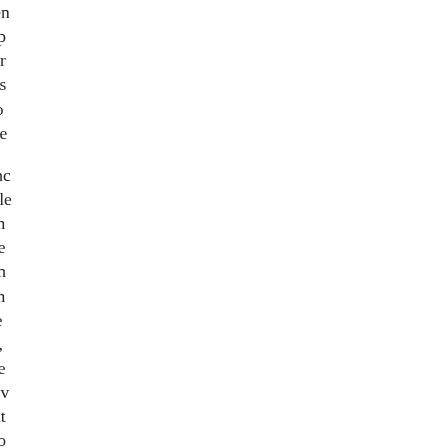intestines is considerably shorten frog, amphibious and feeding up perfected, the necessity of emigr their appearance on the land so s descend from the clouds. So pro themselves the trouble of minute
The bat now makes its appearanc This is the only venomous reptile found principally in rocky warm various species of field-mice; ve banks. In some of the small unin these animals is secreted in a sm perforated canine tooth, capable wound, it erects its canine teeth, a drop of poison through the ape extremely, and occasionally prov remedy is speedily applied. That is olive or salad oil; a quantity o remedy: on which account the vi
Those most elegant fish, smelts c They are of so tender a nature, th the sea.
But nothing in the animal creat